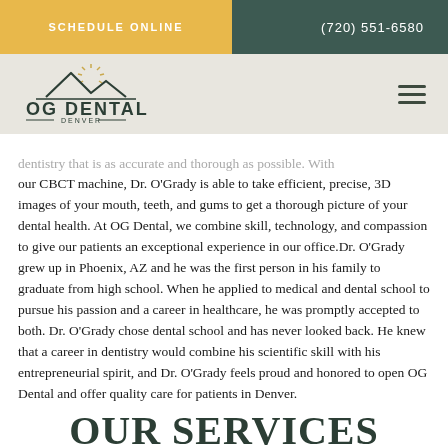SCHEDULE ONLINE | (720) 551-6580
[Figure (logo): OG Dental Denver logo with mountain and sunburst icon]
dentistry that is as accurate and thorough as possible. With our CBCT machine, Dr. O'Grady is able to take efficient, precise, 3D images of your mouth, teeth, and gums to get a thorough picture of your dental health. At OG Dental, we combine skill, technology, and compassion to give our patients an exceptional experience in our office.Dr. O'Grady grew up in Phoenix, AZ and he was the first person in his family to graduate from high school. When he applied to medical and dental school to pursue his passion and a career in healthcare, he was promptly accepted to both. Dr. O'Grady chose dental school and has never looked back. He knew that a career in dentistry would combine his scientific skill with his entrepreneurial spirit, and Dr. O'Grady feels proud and honored to open OG Dental and offer quality care for patients in Denver.
OUR SERVICES